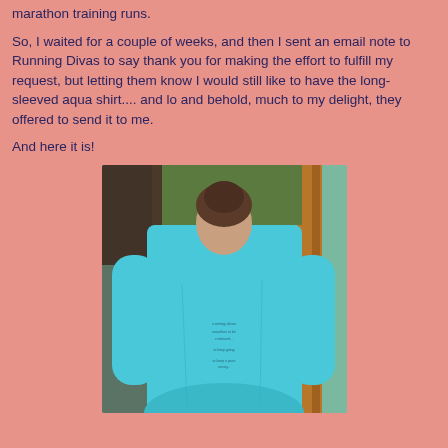marathon training runs.
So, I waited for a couple of weeks, and then I sent an email note to Running Divas to say thank you for making the effort to fulfill my request, but letting them know I would still like to have the long-sleeved aqua shirt.... and lo and behold, much to my delight, they offered to send it to me.
And here it is!
[Figure (photo): Person wearing a long-sleeved aqua/teal shirt, photographed from behind, showing the back of the shirt with some text printed on it. Background includes wooden structures and greenery.]